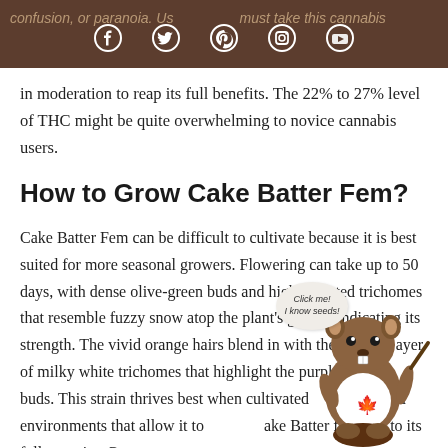confusion, or paranoia. Users must take this cannabis
in moderation to reap its full benefits. The 22% to 27% level of THC might be quite overwhelming to novice cannabis users.
How to Grow Cake Batter Fem?
Cake Batter Fem can be difficult to cultivate because it is best suited for more seasonal growers. Flowering can take up to 50 days, with dense olive-green buds and highly coated trichomes that resemble fuzzy snow atop the plant's greens, indicating its strength. The vivid orange hairs blend in with the dense layer of milky white trichomes that highlight the purple tones of the buds. This strain thrives best when cultivated in controlled environments that allow it to maximize Cake Batter fem bud to its full capacity. Growers can succeed
[Figure (illustration): Cartoon beaver mascot wearing a white t-shirt with a red maple leaf, with a speech bubble saying 'Click me! I know seeds!']